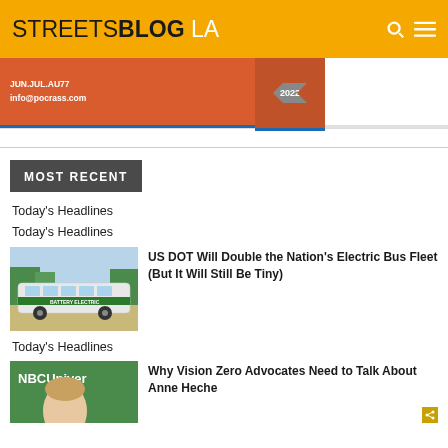STREETSBLOG LA
[Figure (photo): Advertisement banner with orange background, text '2022', info@pocrass.com]
MOST RECENT
Today's Headlines
Today's Headlines
[Figure (photo): Green and white battery electric bus parked outdoors with trees in background]
US DOT Will Double the Nation's Electric Bus Fleet (But It Will Still Be Tiny)
Today's Headlines
[Figure (photo): NBC Universal logo with woman's face visible]
Why Vision Zero Advocates Need to Talk About Anne Heche